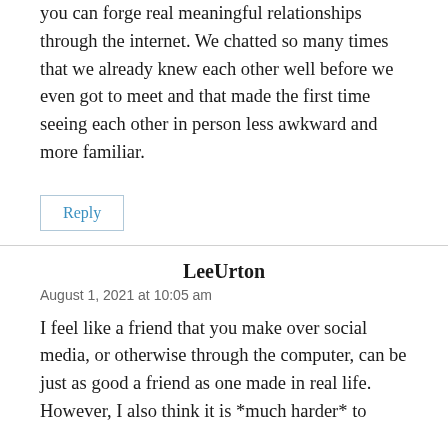you can forge real meaningful relationships through the internet. We chatted so many times that we already knew each other well before we even got to meet and that made the first time seeing each other in person less awkward and more familiar.
Reply
LeeUrton
August 1, 2021 at 10:05 am
I feel like a friend that you make over social media, or otherwise through the computer, can be just as good a friend as one made in real life. However, I also think it is *much harder* to